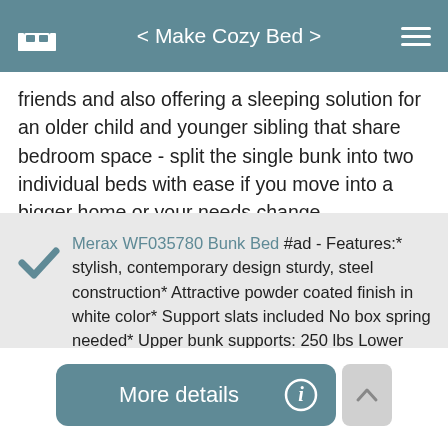< Make Cozy Bed >
friends and also offering a sleeping solution for an older child and younger sibling that share bedroom space - split the single bunk into two individual beds with ease if you move into a bigger home or your needs change.
Merax WF035780 Bunk Bed #ad - Features:* stylish, contemporary design sturdy, steel construction* Attractive powder coated finish in white color* Support slats included No box spring needed* Upper bunk supports: 250 lbs Lower bunk supports: 300 lbs* Certified to exceeds all U. S. Customizable ladder ladder placement can be customized and attached to either side of the bunk bed based on room setup.
More details